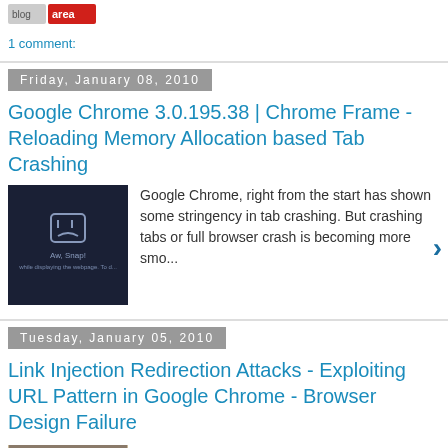[Figure (logo): Website logo with red/white text]
1 comment:
Friday, January 08, 2010
Google Chrome 3.0.195.38 | Chrome Frame - Reloading Memory Allocation based Tab Crashing
[Figure (screenshot): Dark blue screenshot showing browser crash screen with sad face icon and text 'Aw, Snap! while displaying the webpage. To d...']
Google Chrome, right from the start has shown some stringency in tab crashing. But crashing tabs or full browser crash is becoming more smo...
Tuesday, January 05, 2010
Link Injection Redirection Attacks - Exploiting URL Pattern in Google Chrome - Browser Design Failure
[Figure (photo): Book cover or image with text 'OOK OVER THER']
Update: As pointed by Google in the below mentioned link that issues was not reported